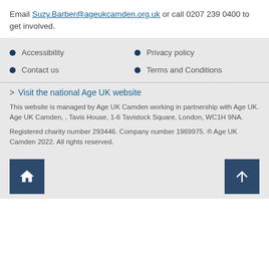Email Suzy.Barber@ageukcamden.org.uk or call 0207 239 0400 to get involved.
Accessibility
Privacy policy
Contact us
Terms and Conditions
> Visit the national Age UK website
This website is managed by Age UK Camden working in partnership with Age UK. Age UK Camden, , Tavis House, 1-6 Tavistock Square, London, WC1H 9NA.
Registered charity number 293446. Company number 1969975. ® Age UK Camden 2022. All rights reserved.
[Figure (other): Home button icon (house symbol) in dark blue square]
[Figure (other): Scroll to top button icon (up arrow) in dark blue square]